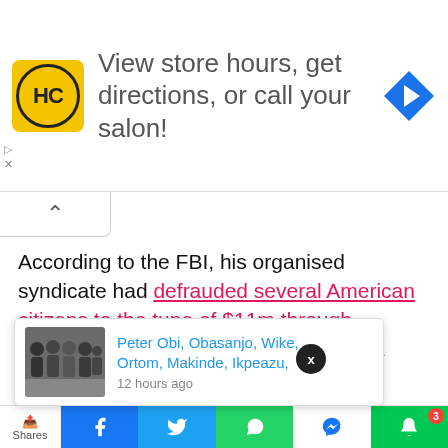[Figure (screenshot): Advertisement banner with HC logo and text 'View store hours, get directions, or call your salon!' with a blue navigation arrow icon]
According to the FBI, his organised syndicate had defrauded several American citizens to the tune of $11m through fraudulent wire transfer instructions in a massive coordinated business email compromise scheme.
However, after months of denying his involvement in the crime before a federal judge in the US, he pleaded [guilty to] conspiracy to [operate with]
[Figure (screenshot): Popup notification with photo of a group of men and text 'Peter Obi, Obasanjo, Wike, Ortom, Makinde, Ikpeazu, — 12 hours ago']
[Figure (screenshot): Bottom social sharing bar with Shares label, Facebook, Twitter, WhatsApp, Messenger, and bell notification buttons]